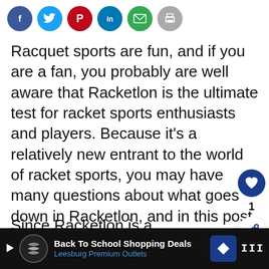[Figure (other): Social media sharing icons row: Facebook (blue), Twitter (light blue), Pinterest (red), LinkedIn (blue), Email (green), Print (gray)]
Racquet sports are fun, and if you are a fan, you probably are well aware that Racketlon is the ultimate test for racket sports enthusiasts and players. Because it’s a relatively new entrant to the world of racket sports, you may have many questions about what goes down in Racketlon, and in this post, we’ll try to answer them.
Since Racketlon is a combination of racquet sports, there are some common ru...
[Figure (infographic): Floating right UI: heart/like button (dark blue circle with heart icon) showing count of 1, and a share button (white circle with share icon)]
[Figure (infographic): What's Next panel: shows avatar photo, label 'WHAT'S NEXT →', sport label 'Boxing']
[Figure (infographic): Ad banner at bottom: black background, play button, circular logo for Leesburg Premium Outlets, text 'Back To School Shopping Deals / Leesburg Premium Outlets', blue navigation icon, brand logo 'III']